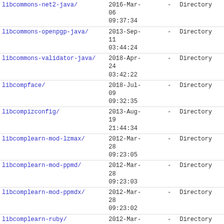| Name | Date |  | Type |
| --- | --- | --- | --- |
| libcommons-net2-java/ | 2016-Mar-06
09:37:34 | - | Directory |
| libcommons-openpgp-java/ | 2013-Sep-11
03:44:24 | - | Directory |
| libcommons-validator-java/ | 2018-Apr-24
03:42:22 | - | Directory |
| libcompface/ | 2018-Jul-09
09:32:35 | - | Directory |
| libcompizconfig/ | 2013-Aug-19
21:44:34 | - | Directory |
| libcomplearn-mod-lzmax/ | 2012-Mar-28
09:23:05 | - | Directory |
| libcomplearn-mod-ppmd/ | 2012-Mar-28
09:23:03 | - | Directory |
| libcomplearn-mod-ppmdx/ | 2012-Mar-28
09:23:02 | - | Directory |
| libcomplearn-ruby/ | 2012-Mar-30
21:42:01 | - | Directory |
| libcomplearn/ | 2012-May-14
15:45:19 | - | Directory |
| libcompress-bzip2-perl/ | 2017-Jul-27 | - | Directory |